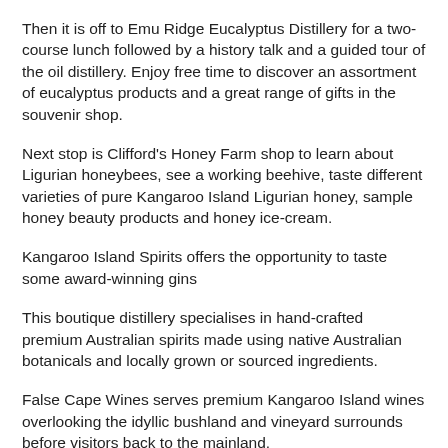Then it is off to Emu Ridge Eucalyptus Distillery for a two-course lunch followed by a history talk and a guided tour of the oil distillery. Enjoy free time to discover an assortment of eucalyptus products and a great range of gifts in the souvenir shop.
Next stop is Clifford's Honey Farm shop to learn about Ligurian honeybees, see a working beehive, taste different varieties of pure Kangaroo Island Ligurian honey, sample honey beauty products and honey ice-cream.
Kangaroo Island Spirits offers the opportunity to taste some award-winning gins
This boutique distillery specialises in hand-crafted premium Australian spirits made using native Australian botanicals and locally grown or sourced ingredients.
False Cape Wines serves premium Kangaroo Island wines overlooking the idyllic bushland and vineyard surrounds before visitors back to the mainland.
The one-night, one-day Kangaroo Island Sip & See Escape includes the one-day tour plus pre-tour overnight